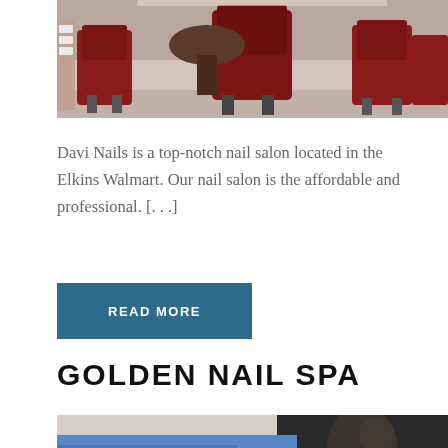[Figure (photo): Interior of a nail salon showing red/maroon salon chairs and equipment]
Davi Nails is a top-notch nail salon located in the Elkins Walmart. Our nail salon is the affordable and professional. [...]
READ MORE
GOLDEN NAIL SPA
[Figure (photo): Close-up of a nail technician in blue working on a client's nails]